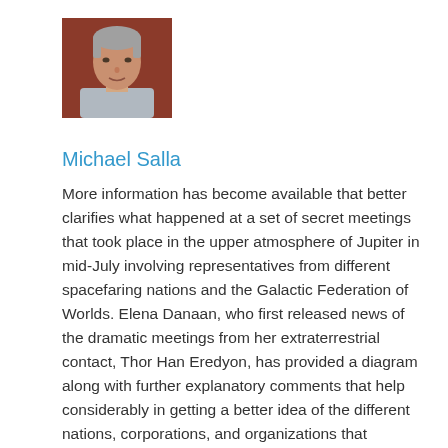[Figure (photo): Portrait photo of a middle-aged man with gray hair wearing a light-colored jacket, shown from the shoulders up against a reddish-brown background.]
Michael Salla
More information has become available that better clarifies what happened at a set of secret meetings that took place in the upper atmosphere of Jupiter in mid-July involving representatives from different spacefaring nations and the Galactic Federation of Worlds. Elena Danaan, who first released news of the dramatic meetings from her extraterrestrial contact, Thor Han Eredyon, has provided a diagram along with further explanatory comments that help considerably in getting a better idea of the different nations, corporations, and organizations that participated in the meetings, and the selection